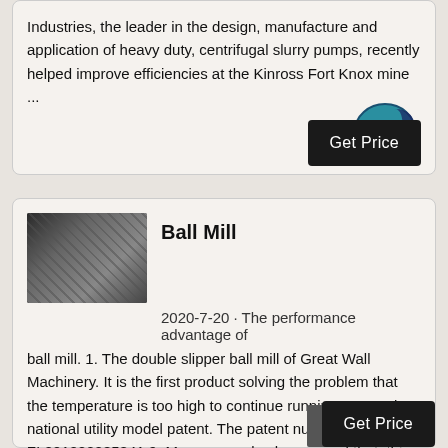Industries, the leader in the design, manufacture and application of heavy duty, centrifugal slurry pumps, recently helped improve efficiencies at the Kinross Fort Knox mine ...
[Figure (other): Live Chat speech bubble icon — teal/dark blue circular chat bubble with text LIVE CHAT]
Get Price
[Figure (photo): Industrial ball mill machinery photograph — dark metallic industrial equipment]
Ball Mill
2020-7-20 · The performance advantage of ball mill. 1. The double slipper ball mill of Great Wall Machinery. It is the first product solving the problem that the temperature is too high to continue running. It won the national utility model patent. The patent number is ZL201020285841.9. Many examples has proved that, this equipment can run steady for a ...
Get Price